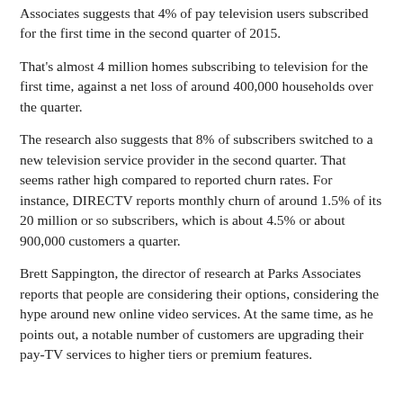Associates suggests that 4% of pay television users subscribed for the first time in the second quarter of 2015.
That's almost 4 million homes subscribing to television for the first time, against a net loss of around 400,000 households over the quarter.
The research also suggests that 8% of subscribers switched to a new television service provider in the second quarter. That seems rather high compared to reported churn rates. For instance, DIRECTV reports monthly churn of around 1.5% of its 20 million or so subscribers, which is about 4.5% or about 900,000 customers a quarter.
Brett Sappington, the director of research at Parks Associates reports that people are considering their options, considering the hype around new online video services. At the same time, as he points out, a notable number of customers are upgrading their pay-TV services to higher tiers or premium features.